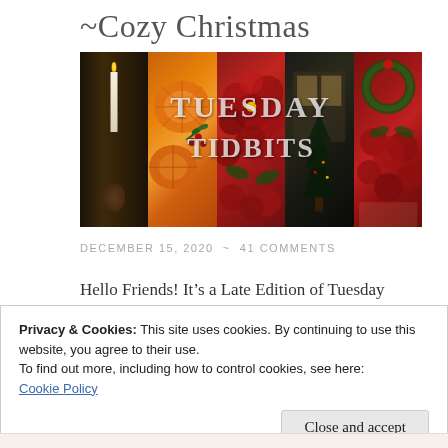~Cozy Christmas
[Figure (photo): Collage of five Christmas/holiday themed photos side by side with 'TUESDAY TIDBITS' text overlaid in white. Panels show: candlelight with pinecone, dried orange slices with cranberries, red flowers/poinsettias, dark cozy interior with Christmas tree silhouette, wreath and red flowers.]
DECEMBER 15, 2020 ~ 41 COMMENTS
Hello Friends! It's a Late Edition of Tuesday
Privacy & Cookies: This site uses cookies. By continuing to use this website, you agree to their use.
To find out more, including how to control cookies, see here:
Cookie Policy
Close and accept